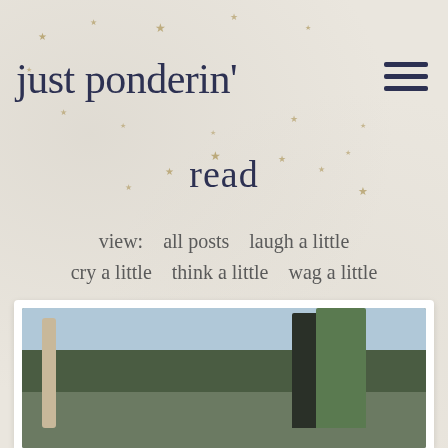just ponderin'
read
view:   all posts   laugh a little
cry a little   think a little   wag a little
[Figure (photo): Outdoor winter photo showing bare trees, dark evergreen trees, and a figure, with blue sky background]